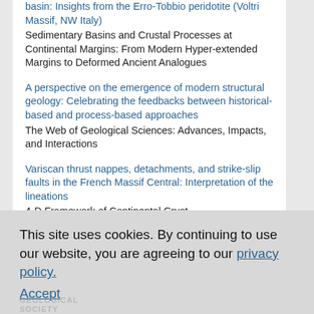basin: Insights from the Erro-Tobbio peridotite (Voltri Massif, NW Italy)
Sedimentary Basins and Crustal Processes at Continental Margins: From Modern Hyper-extended Margins to Deformed Ancient Analogues
A perspective on the emergence of modern structural geology: Celebrating the feedbacks between historical-based and process-based approaches
The Web of Geological Sciences: Advances, Impacts, and Interactions
Variscan thrust nappes, detachments, and strike-slip faults in the French Massif Central: Interpretation of the lineations
4-D Framework of Continental Crust
View More
This site uses cookies. By continuing to use our website, you are agreeing to our privacy policy. Accept